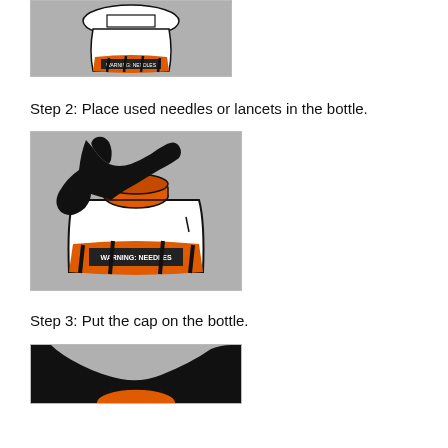[Figure (illustration): Illustration of a sharps disposal bottle (white with orange warning label band) seen from above/front, on a grey background.]
Step 2: Place used needles or lancets in the bottle.
[Figure (illustration): Illustration of a black-gloved hand pressing an orange cap onto a white sharps disposal bottle with an orange WARNING NEEDLES label band, on a grey background.]
Step 3: Put the cap on the bottle.
[Figure (illustration): Partial illustration of a black-gloved hand interacting with a sharps disposal bottle, on a grey background. Cropped at bottom of page.]